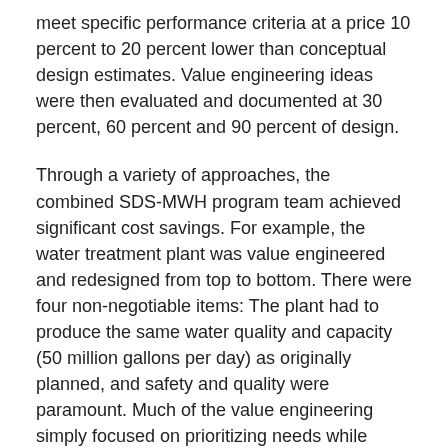meet specific performance criteria at a price 10 percent to 20 percent lower than conceptual design estimates. Value engineering ideas were then evaluated and documented at 30 percent, 60 percent and 90 percent of design.
Through a variety of approaches, the combined SDS-MWH program team achieved significant cost savings. For example, the water treatment plant was value engineered and redesigned from top to bottom. There were four non-negotiable items: The plant had to produce the same water quality and capacity (50 million gallons per day) as originally planned, and safety and quality were paramount. Much of the value engineering simply focused on prioritizing needs while eliminating wants. The plant's future operators were involved every step of the way, producing important efficiencies. For example, all treatment processes were placed under one roof so that staff would not have to brave unsafe winter